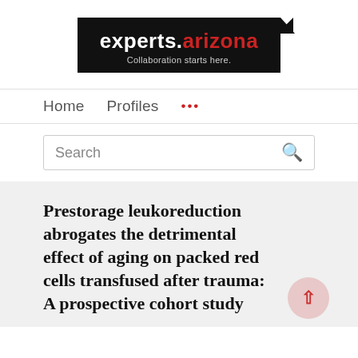[Figure (logo): experts.arizona logo — black background rectangle with white text 'experts.' and red text 'arizona', tagline 'Collaboration starts here.' in grey, with a black triangular tab at top-right corner]
Home   Profiles   ...
Search
Prestorage leukoreduction abrogates the detrimental effect of aging on packed red cells transfused after trauma: A prospective cohort study